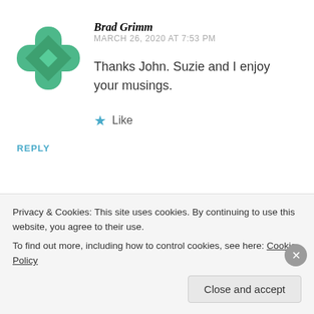Brad Grimm
MARCH 26, 2020 AT 7:53 PM
Thanks John. Suzie and I enjoy your musings.
★ Like
REPLY
Privacy & Cookies: This site uses cookies. By continuing to use this website, you agree to their use.
To find out more, including how to control cookies, see here: Cookie Policy
Close and accept